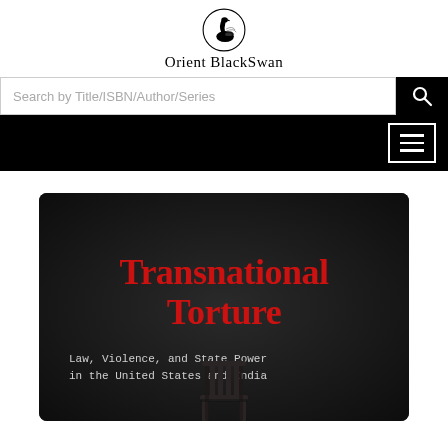[Figure (logo): Orient BlackSwan swan logo at top of page]
Orient BlackSwan
[Figure (screenshot): Search bar with placeholder text 'Search by Title/ISBN/Author/Series' and black search button with magnifying glass icon]
[Figure (screenshot): Black navigation bar with hamburger menu button on the right]
[Figure (illustration): Book cover for 'Transnational Torture: Law, Violence, and State Power in the United States and India' published by Orient BlackSwan. Dark background with red title text in serif font, white subtitle in monospace font, and a dark wooden chair at the bottom.]